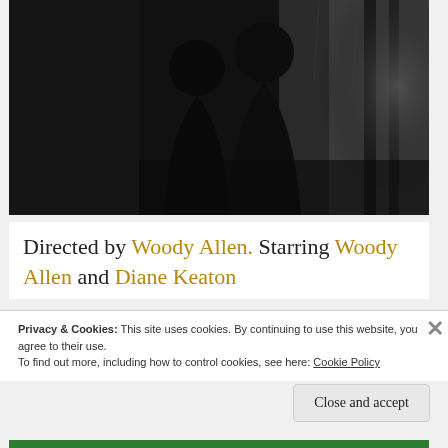[Figure (photo): Black and white photograph showing two silhouetted figures standing near a window or glass door, lit from behind. Dark, moody atmosphere.]
Directed by Woody Allen. Starring Woody Allen and Diane Keaton
Privacy & Cookies: This site uses cookies. By continuing to use this website, you agree to their use.
To find out more, including how to control cookies, see here: Cookie Policy